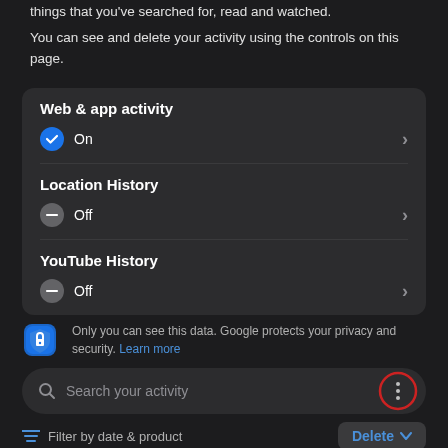things that you've searched for, read and watched.
You can see and delete your activity using the controls on this page.
Web & app activity
On
Location History
Off
YouTube History
Off
Only you can see this data. Google protects your privacy and security. Learn more
Search your activity
Filter by date & product
Delete